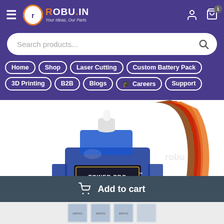[Figure (screenshot): Robu.in e-commerce website header with logo, hamburger menu, user icon, and cart icon with badge showing 1]
Search products...
Home
Shop
Laser Cutting
Custom Battery Pack
3D Printing
B2B
Blogs
🎓 Careers
Support
[Figure (photo): TowerPro SG90 Micro Servo motor, blue translucent plastic body with white horn on top, three wires (orange, red, brown) coming out the right side. Label on front reads: TOWER PRO, Micro Servo 9g, SG90]
Add to cart
[Figure (photo): Bottom thumbnail strip showing partial views of servo motor images]